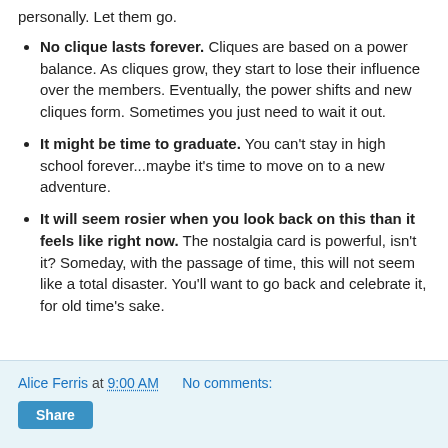personally. Let them go.
No clique lasts forever. Cliques are based on a power balance. As cliques grow, they start to lose their influence over the members. Eventually, the power shifts and new cliques form. Sometimes you just need to wait it out.
It might be time to graduate. You can't stay in high school forever...maybe it's time to move on to a new adventure.
It will seem rosier when you look back on this than it feels like right now. The nostalgia card is powerful, isn't it? Someday, with the passage of time, this will not seem like a total disaster. You'll want to go back and celebrate it, for old time's sake.
Alice Ferris at 9:00 AM   No comments:   Share